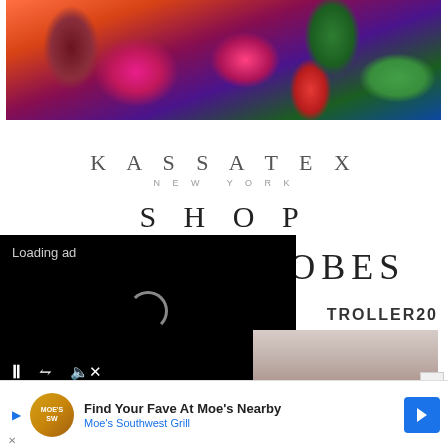[Figure (photo): Colorful tropical fruits including dragon fruit, radicchio, watermelon, and other produce arranged together]
[Figure (logo): Kassatex New York logo in spaced lettering]
SHOP
KIDS SPA ROBES
[Figure (screenshot): Video player overlay with black background showing 'Loading ad' text, a spinning loading indicator, and video controls (pause, expand, mute)]
TROLLER20
[Figure (photo): Child photo partially visible behind the video overlay]
[Figure (screenshot): Advertisement banner: Find Your Fave At Moe's Nearby - Moe's Southwest Grill with arrow icon]